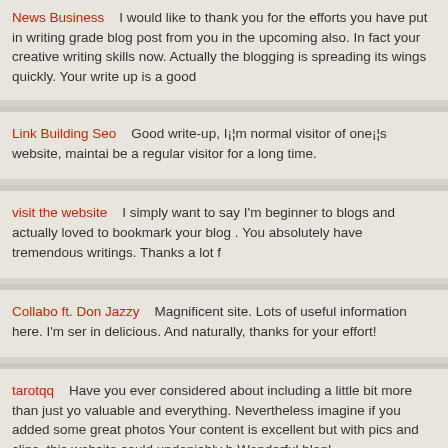News Business   I would like to thank you for the efforts you have put in writing grade blog post from you in the upcoming also. In fact your creative writing skills now. Actually the blogging is spreading its wings quickly. Your write up is a good
Link Building Seo   Good write-up, I¡¦m normal visitor of one¡¦s website, maintai be a regular visitor for a long time.
visit the website   I simply want to say I'm beginner to blogs and actually loved to bookmark your blog . You absolutely have tremendous writings. Thanks a lot f
Collabo ft. Don Jazzy   Magnificent site. Lots of useful information here. I'm ser in delicious. And naturally, thanks for your effort!
tarotqq   Have you ever considered about including a little bit more than just yo valuable and everything. Nevertheless imagine if you added some great photos Your content is excellent but with pics and clips, this website could undeniably b Wonderful blog!